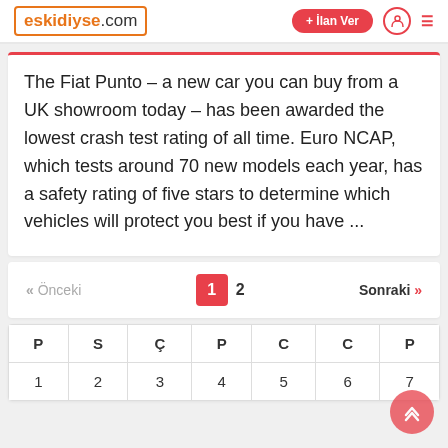eskidiyse.com + İlan Ver
The Fiat Punto – a new car you can buy from a UK showroom today – has been awarded the lowest crash test rating of all time. Euro NCAP, which tests around 70 new models each year, has a safety rating of five stars to determine which vehicles will protect you best if you have ...
« Önceki  1  2  Sonraki »
| P | S | Ç | P | C | C | P |
| --- | --- | --- | --- | --- | --- | --- |
| 1 | 2 | 3 | 4 | 5 | 6 | 7 |